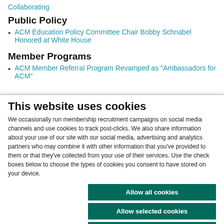Collaborating
Public Policy
ACM Education Policy Committee Chair Bobby Schnabel Honored at White House
Member Programs
ACM Member Referral Program Revamped as "Ambassadors for ACM"
This website uses cookies
We occasionally run membership recruitment campaigns on social media channels and use cookies to track post-clicks. We also share information about your use of our site with our social media, advertising and analytics partners who may combine it with other information that you've provided to them or that they've collected from your use of their services. Use the check boxes below to choose the types of cookies you consent to have stored on your device.
Allow all cookies
Allow selected cookies
Use necessary cookies only
Necessary  Preferences  Statistics  Marketing  Show details